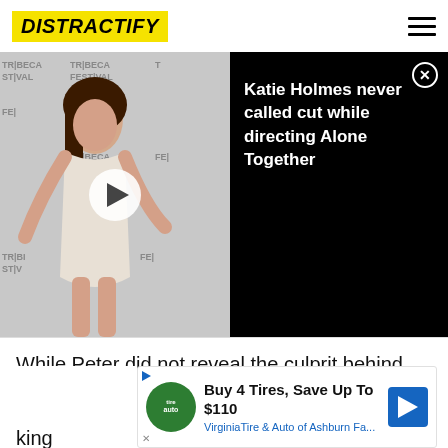DISTRACTIFY
[Figure (screenshot): Video thumbnail showing a woman at a Tribeca Festival backdrop with a play button overlay, alongside a black panel with the title 'Katie Holmes never called cut while directing Alone Together' and a close button]
While Peter did not reveal the culprit behind Eddie's shooting, fans took to the internet to share their theories about t…
[Figure (infographic): Advertisement banner: 'Buy 4 Tires, Save Up To $110 — Virginia Tire & Auto of Ashburn Fa...' with TireAuto logo and blue directional sign icon]